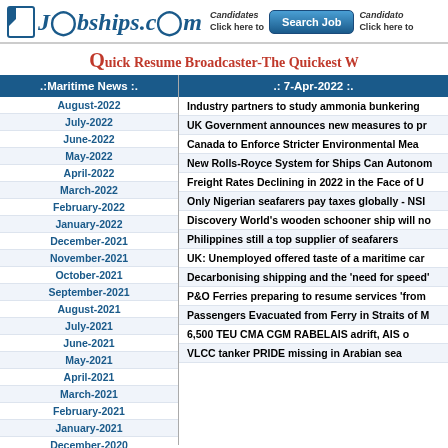Jobships.com — Candidates Search Job — Candidates Click here to
Quick Resume Broadcaster-The Quickest W
.:Maritime News :.
.: 7-Apr-2022 :.
August-2022
July-2022
June-2022
May-2022
April-2022
March-2022
February-2022
January-2022
December-2021
November-2021
October-2021
September-2021
August-2021
July-2021
June-2021
May-2021
April-2021
March-2021
February-2021
January-2021
December-2020
November-2020
Industry partners to study ammonia bunkering
UK Government announces new measures to pr
Canada to Enforce Stricter Environmental Mea
New Rolls-Royce System for Ships Can Autonom
Freight Rates Declining in 2022 in the Face of U
Only Nigerian seafarers pay taxes globally - NSI
Discovery World's wooden schooner ship will no
Philippines still a top supplier of seafarers
UK: Unemployed offered taste of a maritime car
Decarbonising shipping and the 'need for speed'
P&O Ferries preparing to resume services 'from
Passengers Evacuated from Ferry in Straits of M
6,500 TEU CMA CGM RABELAIS adrift, AIS o
VLCC tanker PRIDE missing in Arabian sea